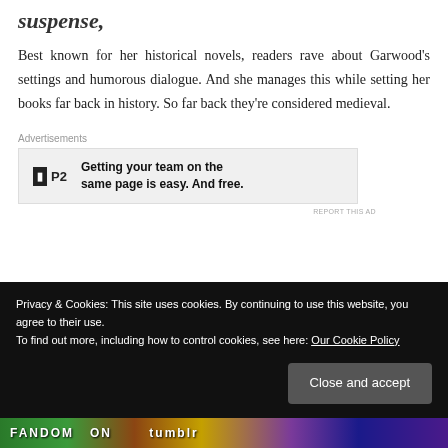suspense,
Best known for her historical novels, readers rave about Garwood’s settings and humorous dialogue. And she manages this while setting her books far back in history. So far back they’re considered medieval.
Advertisements
[Figure (other): P2 advertisement banner with logo and tagline: Getting your team on the same page is easy. And free.]
REPORT THIS AD
Privacy & Cookies: This site uses cookies. By continuing to use this website, you agree to their use.
To find out more, including how to control cookies, see here: Our Cookie Policy
Close and accept
FANDOM ON tumblr